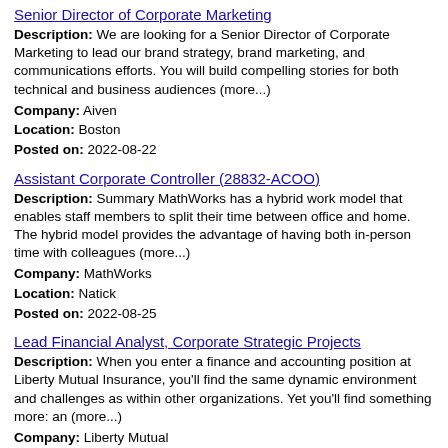Senior Director of Corporate Marketing
Description: We are looking for a Senior Director of Corporate Marketing to lead our brand strategy, brand marketing, and communications efforts. You will build compelling stories for both technical and business audiences (more...)
Company: Aiven
Location: Boston
Posted on: 2022-08-22
Assistant Corporate Controller (28832-ACOO)
Description: Summary MathWorks has a hybrid work model that enables staff members to split their time between office and home. The hybrid model provides the advantage of having both in-person time with colleagues (more...)
Company: MathWorks
Location: Natick
Posted on: 2022-08-25
Lead Financial Analyst, Corporate Strategic Projects
Description: When you enter a finance and accounting position at Liberty Mutual Insurance, you'll find the same dynamic environment and challenges as within other organizations. Yet you'll find something more: an (more...)
Company: Liberty Mutual
Location: Boston
Posted on: 2022-08-19
Corporate Banking Credit Analyst